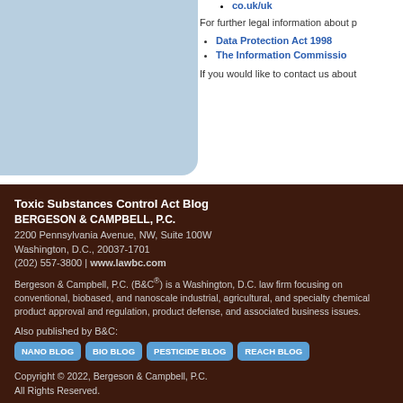co.uk/uk
For further legal information about p
Data Protection Act 1998
The Information Commissio
If you would like to contact us about
Toxic Substances Control Act Blog
BERGESON & CAMPBELL, P.C.
2200 Pennsylvania Avenue, NW, Suite 100W
Washington, D.C., 20037-1701
(202) 557-3800 | www.lawbc.com
Bergeson & Campbell, P.C. (B&C®) is a Washington, D.C. law firm focusing on conventional, biobased, and nanoscale industrial, agricultural, and specialty chemical product approval and regulation, product defense, and associated business issues.
Also published by B&C:
NANO BLOG  BIO BLOG  PESTICIDE BLOG  REACH BLOG
Copyright © 2022, Bergeson & Campbell, P.C. All Rights Reserved.